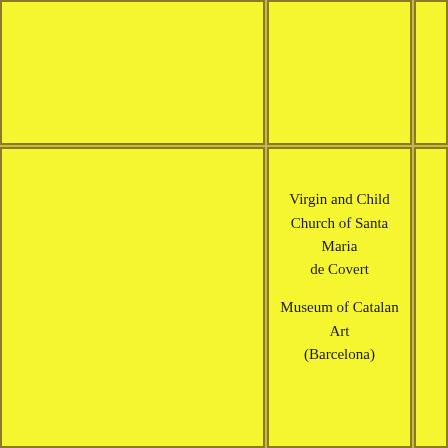[Figure (other): A grid layout with 6 yellow cells arranged in 2 rows and 3 columns, with the middle cell of the bottom row containing text labels for an artwork.]
Virgin and Child Church of Santa Maria de Covert

Museum of Catalan Art (Barcelona)